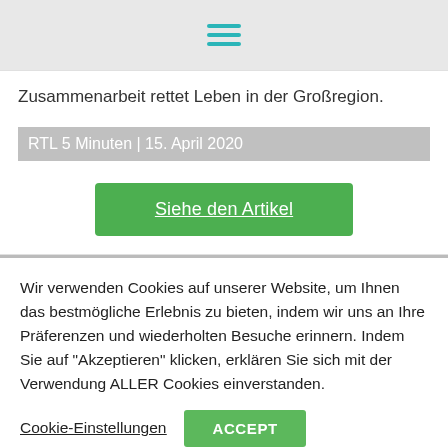[Figure (other): Hamburger menu icon with three teal horizontal lines]
Zusammenarbeit rettet Leben in der Großregion.
RTL 5 Minuten | 15. April 2020
Siehe den Artikel
Wir verwenden Cookies auf unserer Website, um Ihnen das bestmögliche Erlebnis zu bieten, indem wir uns an Ihre Präferenzen und wiederholten Besuche erinnern. Indem Sie auf "Akzeptieren" klicken, erklären Sie sich mit der Verwendung ALLER Cookies einverstanden.
Cookie-Einstellungen
ACCEPT